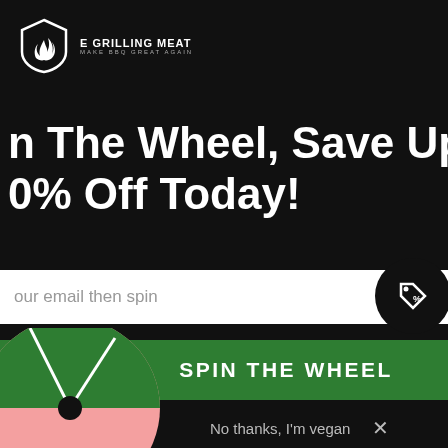[Figure (screenshot): Website background showing navigation bar with cart icon showing 0 items, search icon, red close button, and text 'een gift' and 'anes' partially visible on gray background]
[Figure (screenshot): Modal popup on black background featuring: E Grilling Meat logo with flame shield icon, headline 'Spin The Wheel, Save Up To 30% Off Today!', email input field with placeholder 'Enter your email then spin', green SPIN THE WHEEL button, 'No thanks, I'm vegan' dismiss link, discount tag bubble icon, and partial spin wheel at bottom left]
Spin The Wheel, Save Up To 30% Off Today!
Enter your email then spin
SPIN THE WHEEL
No thanks, I'm vegan